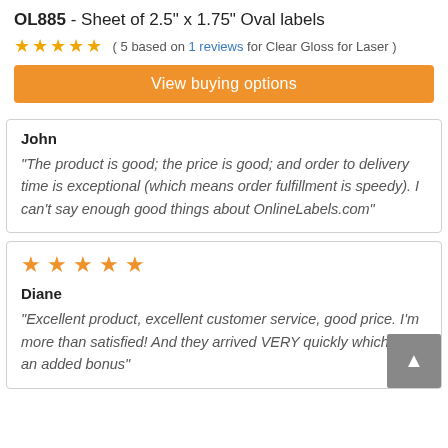OL885 - Sheet of 2.5" x 1.75" Oval labels
( 5 based on 1 reviews for Clear Gloss for Laser )
View buying options
John
"The product is good; the price is good; and order to delivery time is exceptional (which means order fulfillment is speedy). I can't say enough good things about OnlineLabels.com"
Diane
"Excellent product, excellent customer service, good price. I'm more than satisfied! And they arrived VERY quickly which was an added bonus"